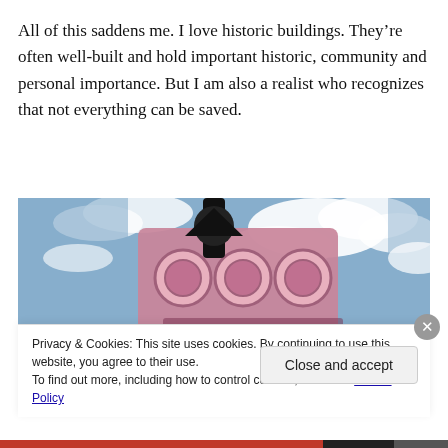All of this saddens me. I love historic buildings. They’re often well-built and hold important historic, community and personal importance. But I am also a realist who recognizes that not everything can be saved.
[Figure (photo): Close-up photo of a pink vintage sign with decorative metalwork, shot from below against a cloudy blue sky.]
Privacy & Cookies: This site uses cookies. By continuing to use this website, you agree to their use.
To find out more, including how to control cookies, see here: Cookie Policy